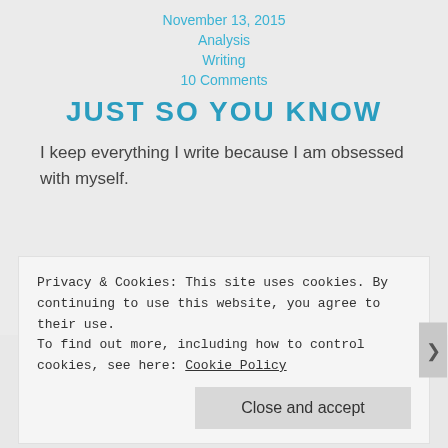November 13, 2015
Analysis
Writing
10 Comments
JUST SO YOU KNOW
I keep everything I write because I am obsessed with myself.
Older posts
Privacy & Cookies: This site uses cookies. By continuing to use this website, you agree to their use.
To find out more, including how to control cookies, see here: Cookie Policy
Close and accept